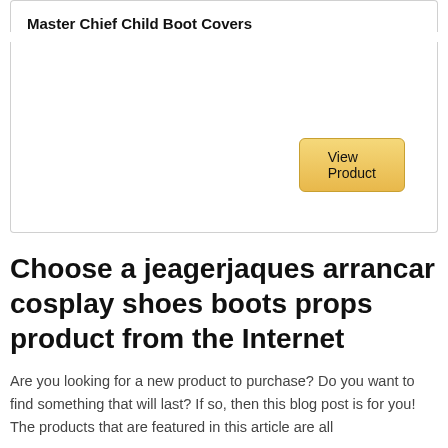Master Chief Child Boot Covers
View Product
Choose a jeagerjaques arrancar cosplay shoes boots props product from the Internet
Are you looking for a new product to purchase? Do you want to find something that will last? If so, then this blog post is for you! The products that are featured in this article are all